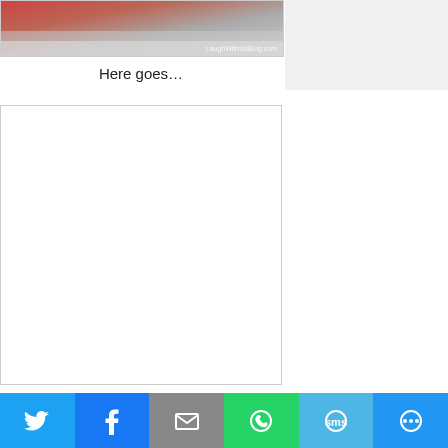[Figure (photo): Partial photo of laundry/dryer scene with LaughWithUsBlog.com watermark]
Here goes…
[Figure (other): Advertisement/embed placeholder box]
When the chime sounded on my dryer I ran to
[Figure (infographic): Social sharing bar with Twitter, Facebook, Email, WhatsApp, SMS, and More buttons]